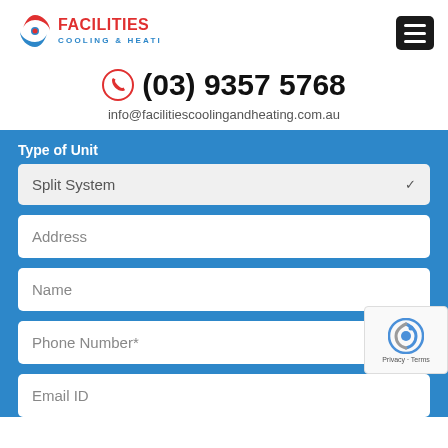[Figure (logo): Facilities Cooling & Heating logo with red and blue swirl icon and red FACILITIES text with blue COOLING & HEATING subtitle]
(03) 9357 5768
info@facilitiescoolingandheating.com.au
Type of Unit
Split System
Address
Name
Phone Number*
Email ID